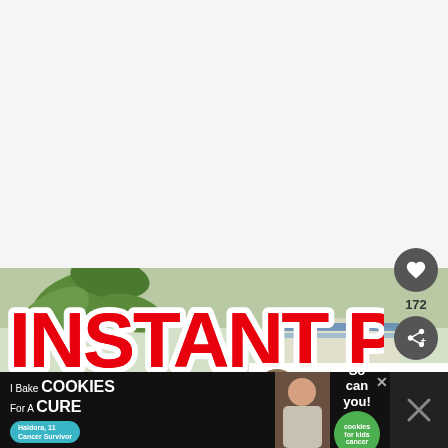[Figure (photo): White background / blank area at top of page, styled as a website screenshot]
[Figure (photo): Food photo with green herbs/plants and a white/blue dish visible; overlaid with large bold red 'INSTANT POT' text with white stroke outline]
172
WHAT'S NEXT → Try This Instant Pot...
[Figure (screenshot): Ad banner: 'I Bake COOKIES For A CURE' with 'Haldora, 11 Cancer Survivor' and 'So can you! cookies for kids cancer' green badge. Dark background with person image.]